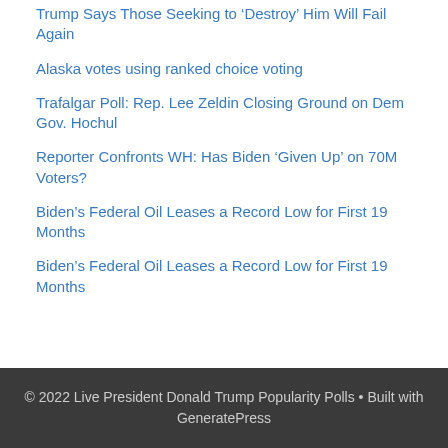Trump Says Those Seeking to ‘Destroy’ Him Will Fail Again
Alaska votes using ranked choice voting
Trafalgar Poll: Rep. Lee Zeldin Closing Ground on Dem Gov. Hochul
Reporter Confronts WH: Has Biden ‘Given Up’ on 70M Voters?
Biden’s Federal Oil Leases a Record Low for First 19 Months
Biden’s Federal Oil Leases a Record Low for First 19 Months
© 2022 Live President Donald Trump Popularity Polls • Built with GeneratePress